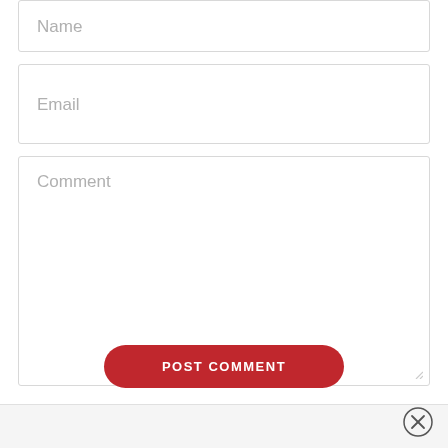Name
Email
Comment
POST COMMENT